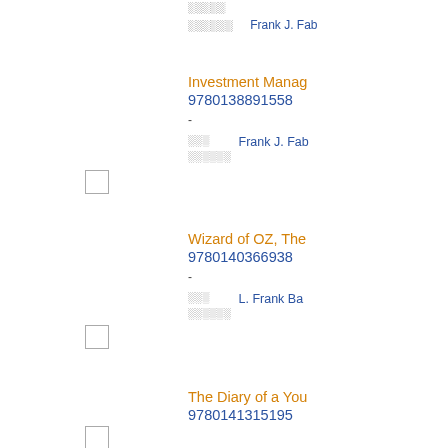Investment Manag... 9780138891558 - Frank J. Fab...
Wizard of OZ, The 9780140366938 - L. Frank Ba...
The Diary of a You... 9780141315195 - Anne Frank
THE WITCH'S DO... 9780141318141 -